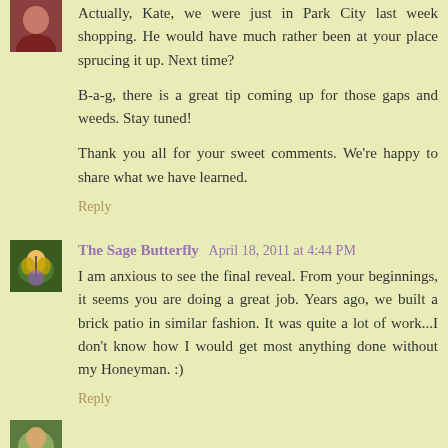[Figure (photo): Small square avatar photo of a person, partially cropped at top]
Actually, Kate, we were just in Park City last week shopping. He would have much rather been at your place sprucing it up. Next time?
B-a-g, there is a great tip coming up for those gaps and weeds. Stay tuned!
Thank you all for your sweet comments. We're happy to share what we have learned.
Reply
[Figure (photo): Small square avatar photo showing a butterfly on a purple flower]
The Sage Butterfly  April 18, 2011 at 4:44 PM
I am anxious to see the final reveal. From your beginnings, it seems you are doing a great job. Years ago, we built a brick patio in similar fashion. It was quite a lot of work...I don't know how I would get most anything done without my Honeyman. :)
Reply
[Figure (photo): Small square avatar photo partially visible at bottom of page]